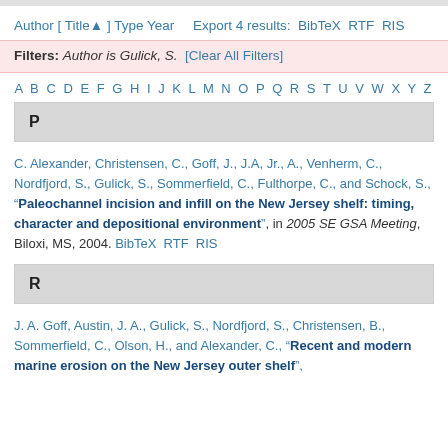Author [ Title ] Type Year   Export 4 results: BibTeX RTF RIS
Filters: Author is Gulick, S. [Clear All Filters]
A B C D E F G H I J K L M N O P Q R S T U V W X Y Z
P
C. Alexander, Christensen, C., Goff, J., J.A, Jr., A., Venherm, C., Nordfjord, S., Gulick, S., Sommerfield, C., Fulthorpe, C., and Schock, S., "Paleochannel incision and infill on the New Jersey shelf: timing, character and depositional environment", in 2005 SE GSA Meeting, Biloxi, MS, 2004. BibTeX RTF RIS
R
J. A. Goff, Austin, J. A., Gulick, S., Nordfjord, S., Christensen, B., Sommerfield, C., Olson, H., and Alexander, C., "Recent and modern marine erosion on the New Jersey outer shelf",